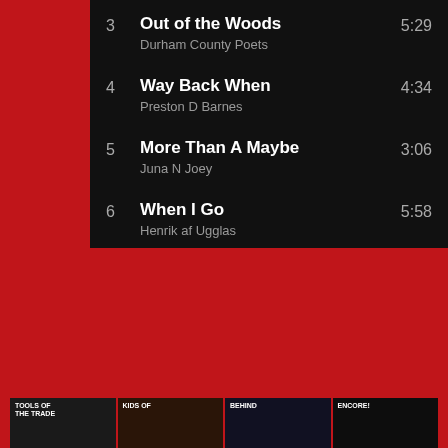3  Out of the Woods  5:29
Durham County Poets
4  Way Back When  4:34
Preston D Barnes
5  More Than A Maybe  3:06
Juna N Joey
6  When I Go  5:58
Henrik af Ugglas
[Figure (screenshot): Four video thumbnails at bottom: TOOLS OF THE TRADE, KIDS OF..., BEHIND..., ENCORE!]